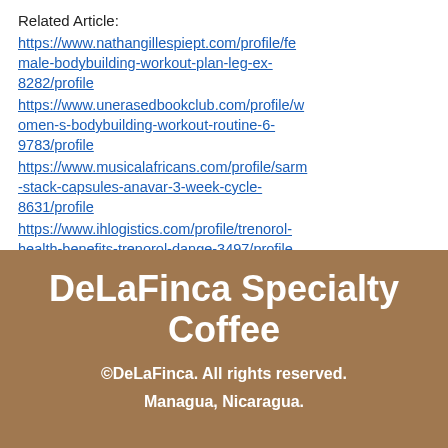Related Article:
https://www.nathangillespiept.com/profile/female-bodybuilding-workout-plan-leg-ex-8282/profile
https://www.unerasedbookclub.com/profile/women-s-bodybuilding-workout-routine-6-9783/profile
https://www.musicalafricans.com/profile/sarm-stack-capsules-anavar-3-week-cycle-8631/profile
https://www.ihlogistics.com/profile/trenorol-health-benefits-trenorol-dange-3497/profile
DeLaFinca Specialty Coffee
©DeLaFinca. All rights reserved.
Managua, Nicaragua.